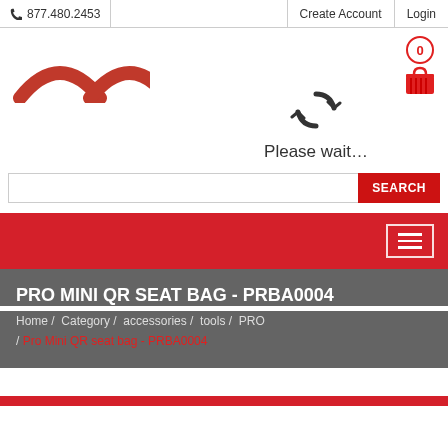877.480.2453  Create Account  Login
[Figure (screenshot): Website header with partial logo (two red arches), shopping cart icon with 0 badge, loading spinner, 'Please wait...' text, and search bar]
[Figure (screenshot): Red navigation bar with hamburger menu icon (three horizontal lines in bordered box)]
PRO MINI QR SEAT BAG - PRBA0004
Home / Category / accessories / tools / PRO / Pro Mini QR seat bag - PRBA0004